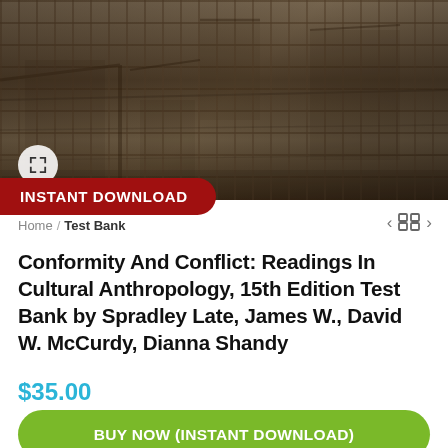[Figure (photo): Black and white / sepia photo showing damaged or destroyed building structures, rubble and ruins, possibly from a war zone or disaster site.]
INSTANT DOWNLOAD
Home / Test Bank
Conformity And Conflict: Readings In Cultural Anthropology, 15th Edition Test Bank by Spradley Late, James W., David W. McCurdy, Dianna Shandy
$35.00
BUY NOW (INSTANT DOWNLOAD)